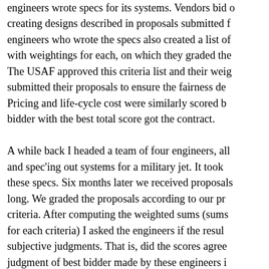engineers wrote specs for its systems. Vendors bid on creating designs described in proposals submitted for engineers who wrote the specs also created a list of with weightings for each, on which they graded the The USAF approved this criteria list and their weigh submitted their proposals to ensure the fairness des Pricing and life-cycle cost were similarly scored by bidder with the best total score got the contract.

A while back I headed a team of four engineers, all s and spec'ing out systems for a military jet. It took m these specs. Six months later we received proposals long. We graded the proposals according to our pre criteria. After computing the weighted sums (sums o for each criteria) I asked the engineers if the results subjective judgments. That is, did the scores agree w judgment of best bidder made by these engineers in scoring process. Only about half of them were. I ask thought the score results differed from their subject